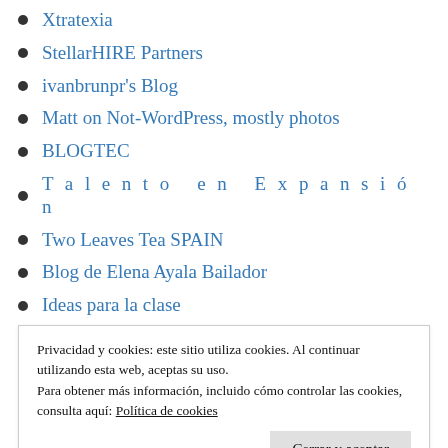Xtratexia
StellarHIRE Partners
ivanbrunpr's Blog
Matt on Not-WordPress, mostly photos
BLOGTEC
T a l e n t o   e n   E x p a n s i ó n
Two Leaves Tea SPAIN
Blog de Elena Ayala Bailador
Ideas para la clase
Nuria Sanchis
Privacidad y cookies: este sitio utiliza cookies. Al continuar utilizando esta web, aceptas su uso.
Para obtener más información, incluido cómo controlar las cookies, consulta aquí: Política de cookies
Cerrar y aceptar
SCIENTIA